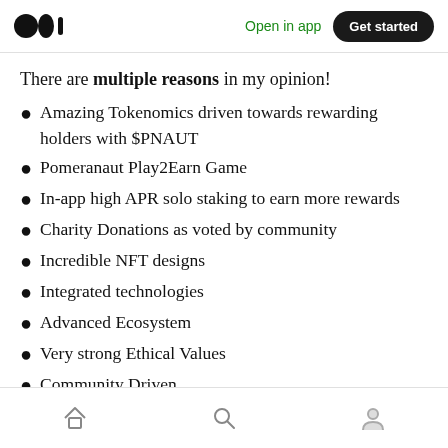Open in app | Get started
There are multiple reasons in my opinion!
Amazing Tokenomics driven towards rewarding holders with $PNAUT
Pomeranaut Play2Earn Game
In-app high APR solo staking to earn more rewards
Charity Donations as voted by community
Incredible NFT designs
Integrated technologies
Advanced Ecosystem
Very strong Ethical Values
Community Driven
Home | Search | Profile